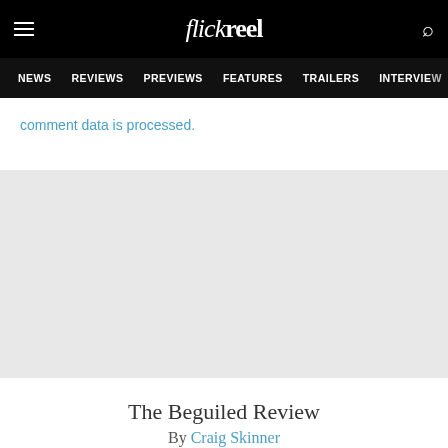flickreel — NEWS | REVIEWS | PREVIEWS | FEATURES | TRAILERS | INTERVIEWS
comment data is processed.
[Figure (other): Grey advertisement or placeholder area]
The Beguiled Review
By Craig Skinner